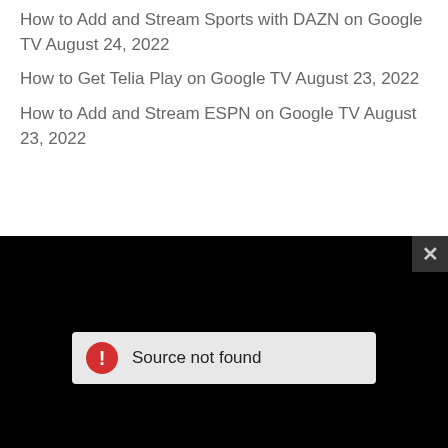How to Add and Stream Sports with DAZN on Google TV August 24, 2022
How to Get Telia Play on Google TV August 23, 2022
How to Add and Stream ESPN on Google TV August 23, 2022
[Figure (screenshot): Black video player area with a 'Source not found' error message bar in the center and an X close button in the top right corner]